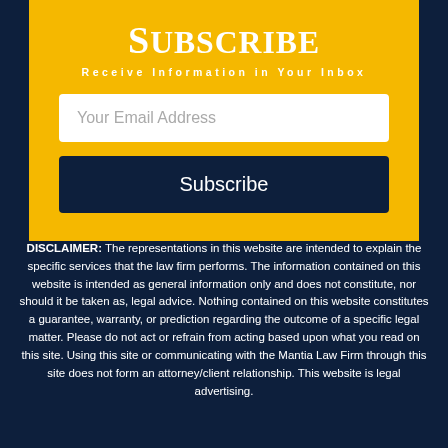Subscribe
Receive Information in Your Inbox
Your Email Address
Subscribe
DISCLAIMER: The representations in this website are intended to explain the specific services that the law firm performs. The information contained on this website is intended as general information only and does not constitute, nor should it be taken as, legal advice. Nothing contained on this website constitutes a guarantee, warranty, or prediction regarding the outcome of a specific legal matter. Please do not act or refrain from acting based upon what you read on this site. Using this site or communicating with the Mantia Law Firm through this site does not form an attorney/client relationship. This website is legal advertising.